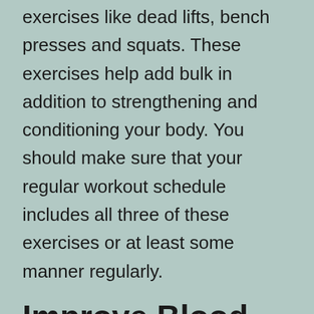exercises like dead lifts, bench presses and squats. These exercises help add bulk in addition to strengthening and conditioning your body. You should make sure that your regular workout schedule includes all three of these exercises or at least some manner regularly.
Improve Blood Flow
Since it will take quite some time to gain muscle, it is important to stay motivated constantly. You might also choose rewards that will further your muscle gaining efforts. For example, you can obtain a massage; they